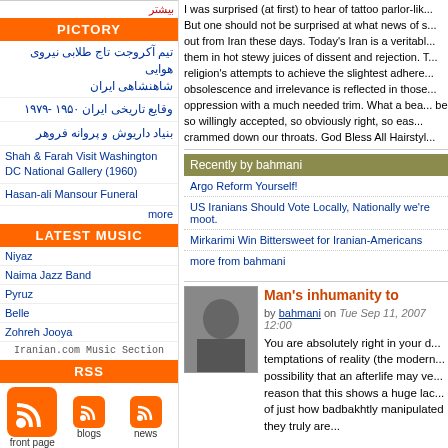بیشتر
PICTORY
تیم آکروجت تاج طلابی نیروی هوایی شاهنشاهی ایران
وقایع تاریخی ایران ۱۹۵۰ -۱۹۷۹
بنیاد داریوش و پروانه فروهر
Shah & Farah Visit Washington DC National Gallery (1960)
Hasan-ali Mansour Funeral
more
LATEST MUSIC
Niyaz
Naima Jazz Band
Pyruz
Belle
Zohreh Jooya
Iranian.com Music Section
RSS
front page | blogs | news | فارسی | بلاگهای فارسی
more
SEARCH
and 272 million tears of our country, these days...
I was surprised (at first) to hear of tattoo parlor-li... But one should not be surprised at what news of s... out from Iran these days. Today's Iran is a veritabl... them in hot stewy juices of dissent and rejection. T... religion's attempts to achieve the slightest adhere... obsolescence and irrelevance is reflected in those... oppression with a much needed trim. What a bea... be so willingly accepted, so obviously right, so eas... crammed down our throats. God Bless All Hairstyl...
Recently by bahmani
Argo Reform Yourself!
US Iranians Should Vote Locally, Nationally we're moot.
Mirkarimi Win Bittersweet for Iranian-Americans
more from bahmani
Man's inhumanity to
by bahmani on Tue Sep 11, 2007 12:00
You are absolutely right in your d... temptations of reality (the modern... possibility that an afterlife may ve... reason that this shows a huge lac... of just how badbakhtly manipulated they truly are...